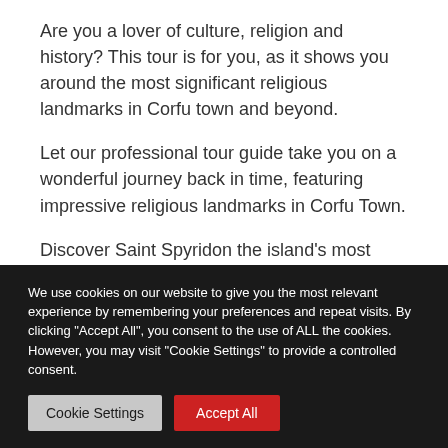Are you a lover of culture, religion and history? This tour is for you, as it shows you around the most significant religious landmarks in Corfu town and beyond.
Let our professional tour guide take you on a wonderful journey back in time, featuring impressive religious landmarks in Corfu Town.
Discover Saint Spyridon the island's most
We use cookies on our website to give you the most relevant experience by remembering your preferences and repeat visits. By clicking "Accept All", you consent to the use of ALL the cookies. However, you may visit "Cookie Settings" to provide a controlled consent.